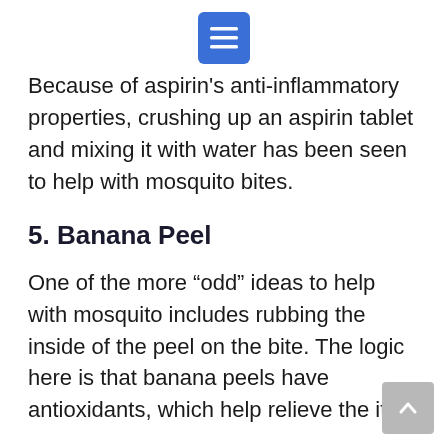Menu button (hamburger icon)
Because of aspirin's anti-inflammatory properties, crushing up an aspirin tablet and mixing it with water has been seen to help with mosquito bites.
5. Banana Peel
One of the more “odd” ideas to help with mosquito includes rubbing the inside of the peel on the bite. The logic here is that banana peels have antioxidants, which help relieve the itch.
6. Baking Soda